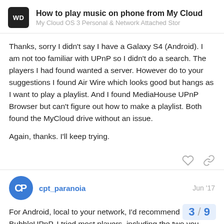How to play music on phone from My Cloud
My Cloud OS 3 Personal & Network Attached Stor
Thanks, sorry I didn't say I have a Galaxy S4 (Android). I am not too familiar with UPnP so I didn't do a search. The players I had found wanted a server. However do to your suggestions I found Air Wire which looks good but hangs as I want to play a playlist. And I found MediaHouse UPnP Browser but can't figure out how to make a playlist. Both found the MyCloud drive without an issue.
Again, thanks. I'll keep trying.
cpt_paranoia   Jun '17
For Android, local to your network, I'd recommend BubbleUPnP. I tried most players, including the two you
Put it this way: I actually paid the £3 or so